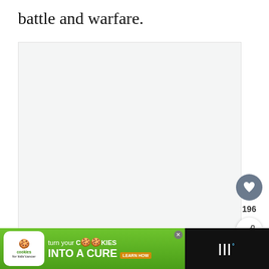battle and warfare.
[Figure (other): Large light gray image placeholder area]
[Figure (infographic): Heart/like button (dark gray circle with heart icon), count label 196, share button (white circle with share icon)]
WHAT'S NEXT → The Tribe of Zebulun:....
[Figure (screenshot): Advertisement bar: Cookies for Kids Cancer - turn your COOKIES into a CURE LEARN HOW, with Wondery logo on right]